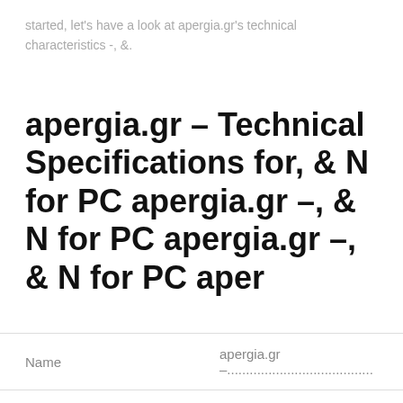started, let's have a look at apergia.gr's technical characteristics -, &.
apergia.gr – Technical Specifications for, & N for PC apergia.gr –, & N for PC apergia.gr –, & N for PC aper
| Name | Category | File size |
| --- | --- | --- |
| Name | apergia.gr –.................................... |
| Category | News & Magazines |
| File size | 10M |